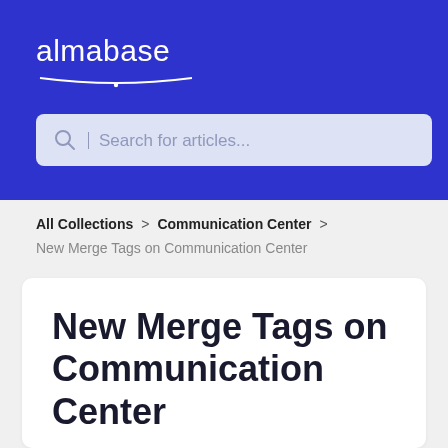[Figure (logo): Almabase logo in white on blue background with smile underline graphic]
Search for articles...
All Collections > Communication Center
New Merge Tags on Communication Center
New Merge Tags on Communication Center
Summary on the merge tag update, what